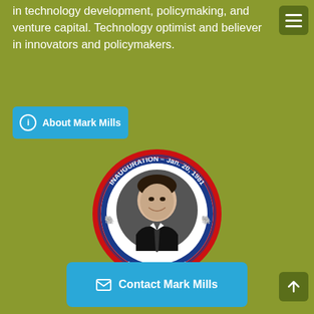in technology development, policymaking, and venture capital. Technology optimist and believer in innovators and policymakers.
[Figure (other): Blue button/link: About Mark Mills with info icon]
[Figure (other): Ronald Reagan Inauguration Jan. 20, 1981 campaign pin badge showing portrait of Ronald Reagan, 'Our 40th President']
[Figure (other): Blue Contact Mark Mills button with envelope icon, and green up-arrow button in bottom right corner]